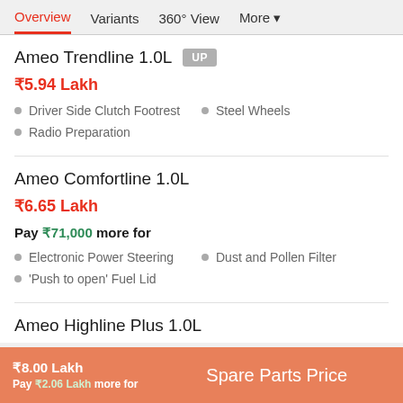Overview  Variants  360° View  More
Ameo Trendline 1.0L
₹5.94 Lakh
Driver Side Clutch Footrest
Steel Wheels
Radio Preparation
Ameo Comfortline 1.0L
₹6.65 Lakh
Pay ₹71,000 more for
Electronic Power Steering
Dust and Pollen Filter
'Push to open' Fuel Lid
Ameo Highline Plus 1.0L
₹8.00 Lakh
Pay ₹2.06 Lakh more for
Spare Parts Price